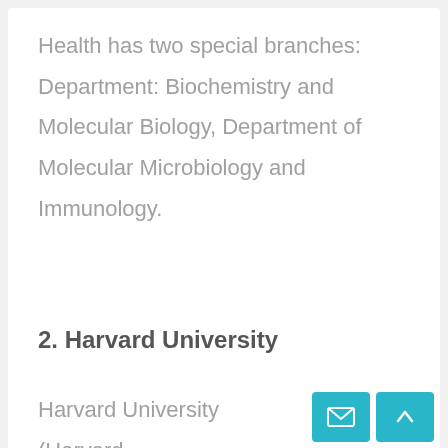Health has two special branches: Department: Biochemistry and Molecular Biology, Department of Molecular Microbiology and Immunology.
2. Harvard University
Harvard University (Harvard